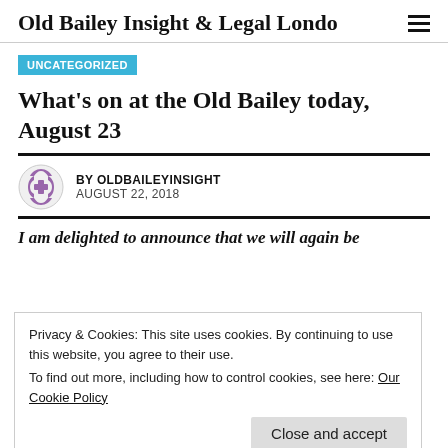Old Bailey Insight & Legal London
UNCATEGORIZED
What's on at the Old Bailey today, August 23
BY OLDBAILEYINSIGHT
AUGUST 22, 2018
I am delighted to announce that we will again be
Privacy & Cookies: This site uses cookies. By continuing to use this website, you agree to their use.
To find out more, including how to control cookies, see here: Our Cookie Policy
psychologist and former Oxford Don Peter Collett. All